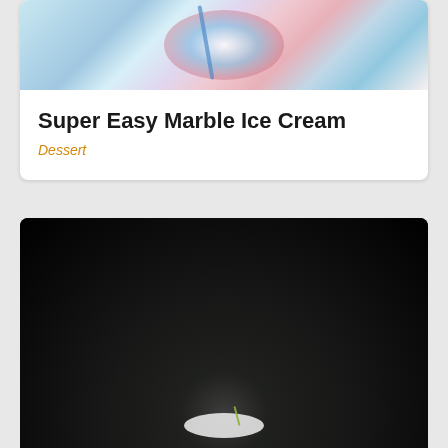[Figure (photo): Colorful marble ice cream in a bowl with a straw, viewed from above, showing blue, red, pink, and white swirled colors]
Super Easy Marble Ice Cream
Dessert
[Figure (photo): Dark background food photo showing a white dessert item with green garnish at the bottom, mostly black/dark tones]